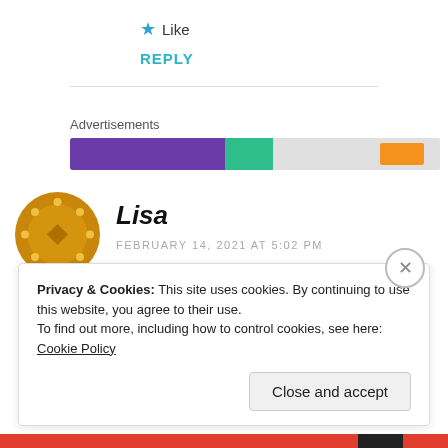★ Like
REPLY
[Figure (infographic): Advertisements loading bar with purple, teal, gray and orange segments]
Lisa
FEBRUARY 14, 2021 AT 5:02 PM
Privacy & Cookies: This site uses cookies. By continuing to use this website, you agree to their use.
To find out more, including how to control cookies, see here: Cookie Policy
Close and accept